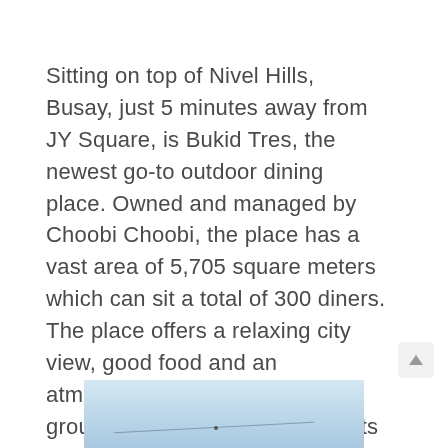Sitting on top of Nivel Hills, Busay, just 5 minutes away from JY Square, is Bukid Tres, the newest go-to outdoor dining place. Owned and managed by Choobi Choobi, the place has a vast area of 5,705 square meters which can sit a total of 300 diners. The place offers a relaxing city view, good food and an atmosphere that will keep you grounded amidst the busy streets of Cebu City.
[Figure (photo): Partial photo at the bottom of the page showing a light blue sky or outdoor scene with a diagonal line element visible]